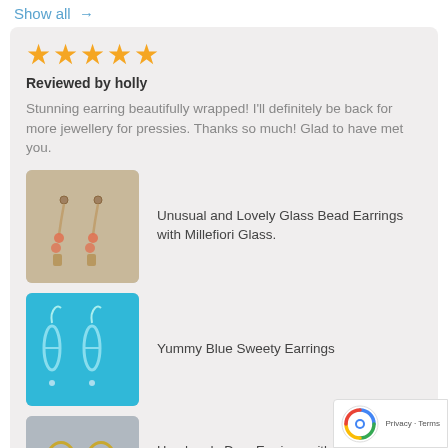Show all →
[Figure (other): Five gold star rating icons]
Reviewed by holly
Stunning earring beautifully wrapped! I'll definitely be back for more jewellery for pressies. Thanks so much! Glad to have met you.
[Figure (photo): Photo of glass bead earrings with millefiori glass on a neutral background]
Unusual and Lovely Glass Bead Earrings with Millefiori Glass.
[Figure (photo): Photo of blue sweety earrings on a cyan background]
Yummy Blue Sweety Earrings
[Figure (photo): Photo of handmade drop earrings, partially visible]
Handmade Drop Earrings with Twinkly